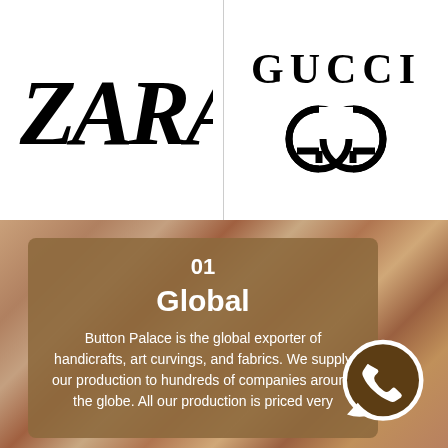[Figure (logo): ZARA brand logo in bold italic serif lettering]
[Figure (logo): GUCCI brand logo with text and interlocking GG symbol]
[Figure (infographic): Brown card overlay on rocky background with number 01, title Global, and descriptive text about Button Palace being a global exporter of handicrafts, art curvings, and fabrics, with WhatsApp icon]
Button Palace is the global exporter of handicrafts, art curvings, and fabrics. We supply our production to hundreds of companies around the globe. All our production is priced very